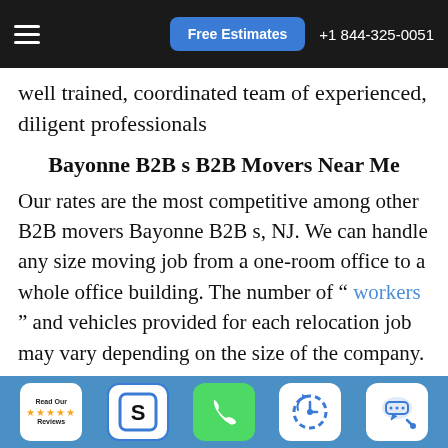Free Estimates | +1 844-325-0051
well trained, coordinated team of experienced, diligent professionals
Bayonne B2B s B2B Movers Near Me
Our rates are the most competitive among other B2B movers Bayonne B2B s, NJ. We can handle any size moving job from a one-room office to a whole office building. The number of “ workers ” and vehicles provided for each relocation job may vary depending on the size of the company. No job is too big or too small, and each corporate customer is treated with respect and the best customer service among any of our competitors. Before
Read Our Reviews | $ icon | Phone icon | Clock icon | Chat icon